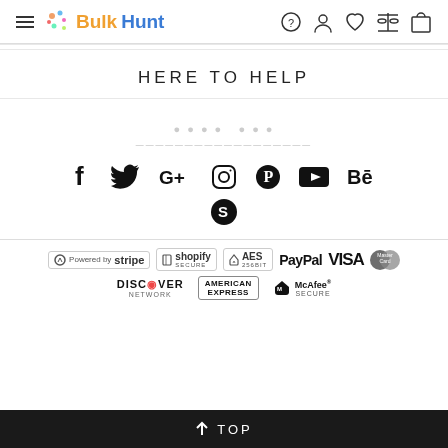BulkHunt — navigation header with logo and icons
HERE TO HELP
[Figure (illustration): Social media icons: Facebook, Twitter, Google+, Instagram, Pinterest, YouTube, Behance, Skype]
[Figure (illustration): Payment logos: Stripe, Shopify Secure, AES 256Bit, PayPal, VISA, Mastercard, Discover Network, American Express, McAfee Secure]
↑ TOP